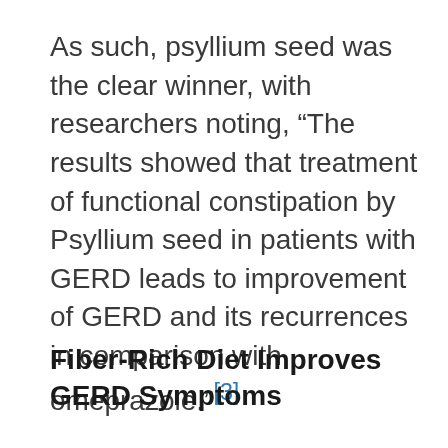As such, psyllium seed was the clear winner, with researchers noting, “The results showed that treatment of functional constipation by Psyllium seed in patients with GERD leads to improvement of GERD and its recurrences in comparison with omeprazole.”[3]
Fiber-Rich Diet Improves GERD Symptoms